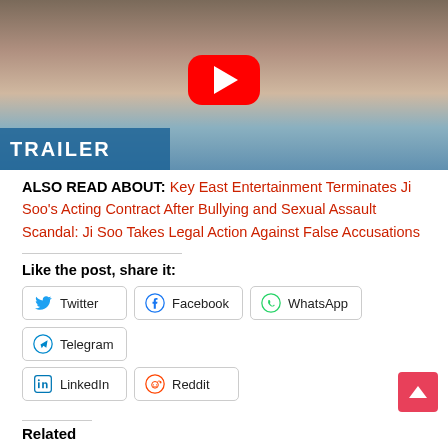[Figure (screenshot): YouTube video thumbnail showing a woman with dark hair, with a red YouTube play button overlay and a blue 'TRAILER' banner in the lower left corner.]
ALSO READ ABOUT: Key East Entertainment Terminates Ji Soo's Acting Contract After Bullying and Sexual Assault Scandal: Ji Soo Takes Legal Action Against False Accusations
Like the post, share it:
Twitter
Facebook
WhatsApp
Telegram
LinkedIn
Reddit
Related